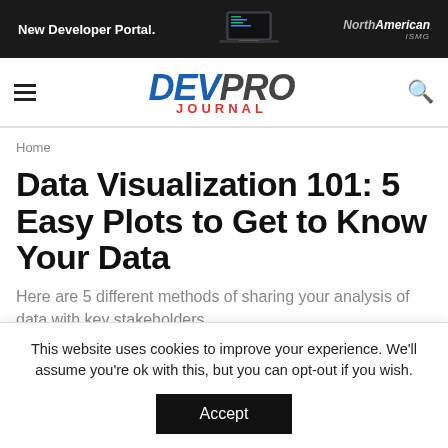[Figure (screenshot): Dark advertisement banner with text 'New Developer Portal.' and NorthAmerican logo on a dark background]
DEV PRO JOURNAL
Home
Data Visualization 101: 5 Easy Plots to Get to Know Your Data
Here are 5 different methods of sharing your analysis of data with key stakeholders.
This website uses cookies to improve your experience. We'll assume you're ok with this, but you can opt-out if you wish.